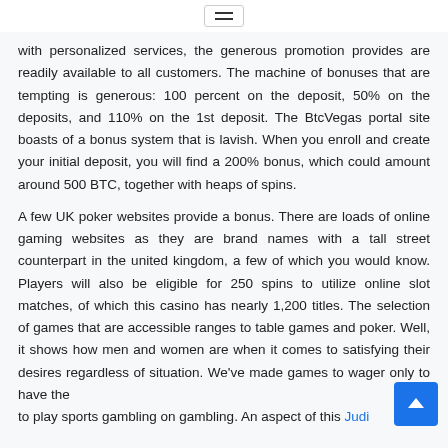with personalized services, the generous promotion provides are readily available to all customers. The machine of bonuses that are tempting is generous: 100 percent on the deposit, 50% on the deposits, and 110% on the 1st deposit. The BtcVegas portal site boasts of a bonus system that is lavish. When you enroll and create your initial deposit, you will find a 200% bonus, which could amount around 500 BTC, together with heaps of spins.
A few UK poker websites provide a bonus. There are loads of online gaming websites as they are brand names with a tall street counterpart in the united kingdom, a few of which you would know. Players will also be eligible for 250 spins to utilize online slot matches, of which this casino has nearly 1,200 titles. The selection of games that are accessible ranges to table games and poker. Well, it shows how men and women are when it comes to satisfying their desires regardless of situation. We've made games to wager only to have the to play sports gambling on gambling. An aspect of this Judi